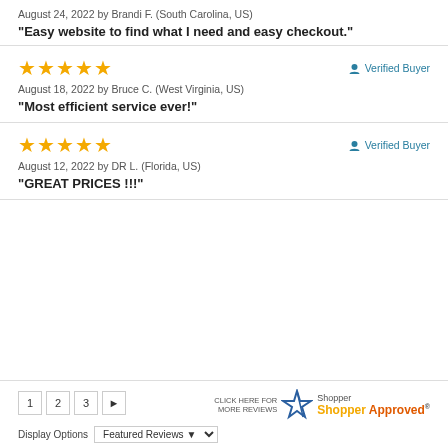August 24, 2022 by Brandi F. (South Carolina, US)
“Easy website to find what I need and easy checkout.”
★★★★★ Verified Buyer
August 18, 2022 by Bruce C. (West Virginia, US)
“Most efficient service ever!”
★★★★★ Verified Buyer
August 12, 2022 by DR L. (Florida, US)
“GREAT PRICES !!!”
1 2 3 ►  CLICK HERE FOR MORE REVIEWS  Shopper Approved  Display Options  Featured Reviews